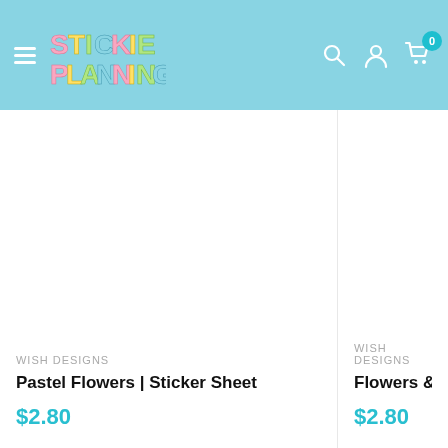[Figure (logo): Stickie Planning colorful logo with hamburger menu, search, account, and cart icons on light blue header background]
WISH DESIGNS
Pastel Flowers | Sticker Sheet
$2.80
WISH DESIGNS
Flowers & Leaves |
$2.80